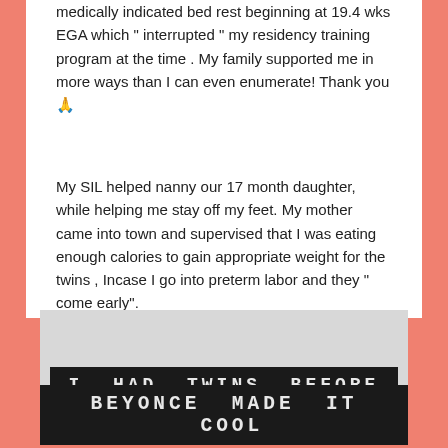medically indicated bed rest beginning at 19.4 wks EGA which " interrupted " my residency training program at the time . My family supported me in more ways than I can even enumerate! Thank you 🙏
My SIL helped nanny our 17 month daughter, while helping me stay off my feet. My mother came into town and supervised that I was eating enough calories to gain appropriate weight for the twins , Incase I go into preterm labor and they " come early".
[Figure (photo): A sign with dark background and light monospace text reading 'I HAD TWINS BEFORE BEYONCE MADE IT COOL' in two rows on a gray background.]